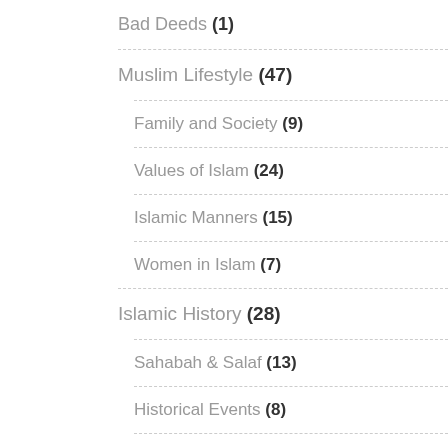Bad Deeds (1)
Muslim Lifestyle (47)
Family and Society (9)
Values of Islam (24)
Islamic Manners (15)
Women in Islam (7)
Islamic History (28)
Sahabah & Salaf (13)
Historical Events (8)
Muslim Figures (11)
Wars & Battles (1)